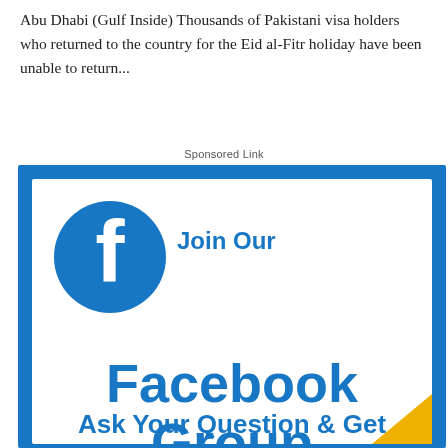Abu Dhabi (Gulf Inside) Thousands of Pakistani visa holders who returned to the country for the Eid al-Fitr holiday have been unable to return...
Sponsored Link
[Figure (illustration): Facebook Group advertisement banner with Facebook logo circle, 'Join Our Facebook Group' heading, and 'Ask Your Question & Get' text at bottom, blue and white color scheme with gold corner accent.]